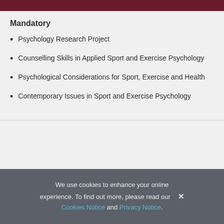Mandatory
Psychology Research Project
Counselling Skills in Applied Sport and Exercise Psychology
Psychological Considerations for Sport, Exercise and Health
Contemporary Issues in Sport and Exercise Psychology
We use cookies to enhance your online experience. To find out more, please read our Cookies Notice and Privacy Notice.